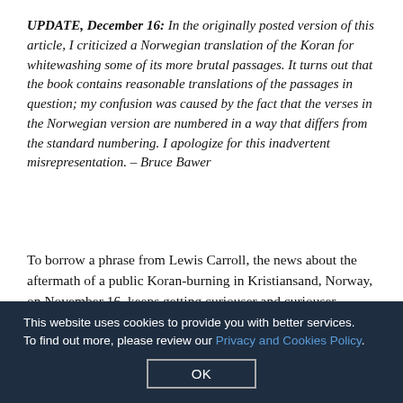UPDATE, December 16: In the originally posted version of this article, I criticized a Norwegian translation of the Koran for whitewashing some of its more brutal passages. It turns out that the book contains reasonable translations of the passages in question; my confusion was caused by the fact that the verses in the Norwegian version are numbered in a way that differs from the standard numbering. I apologize for this inadvertent misrepresentation. – Bruce Bawer
To borrow a phrase from Lewis Carroll, the news about the aftermath of a public Koran-burning in Kristiansand, Norway, on November 16, keeps getting curiouser and curiouser.
As reported in... [partially obscured by cookie banner]
This website uses cookies to provide you with better services. To find out more, please review our Privacy and Cookies Policy.
OK